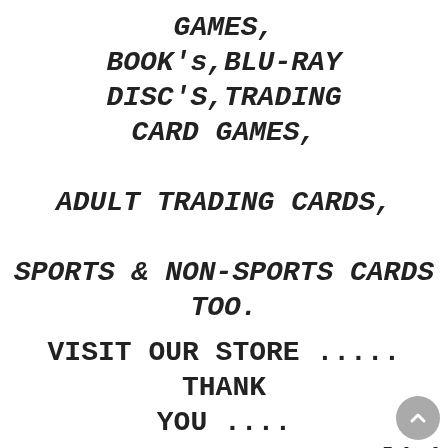GAMES, BOOK's,BLU-RAY DISC'S,TRADING CARD GAMES, ADULT TRADING CARDS, SPORTS & NON-SPORTS CARDS TOO.
VISIT OUR STORE ..... THANK YOU ....
Click me ....
See our store for